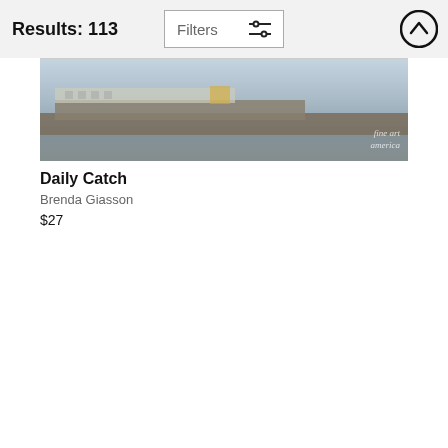Results: 113
Filters
[Figure (photo): Cropped photo of a dock/pier with water, featuring Fine Art America watermark in the lower right corner]
Daily Catch
Brenda Giasson
$27